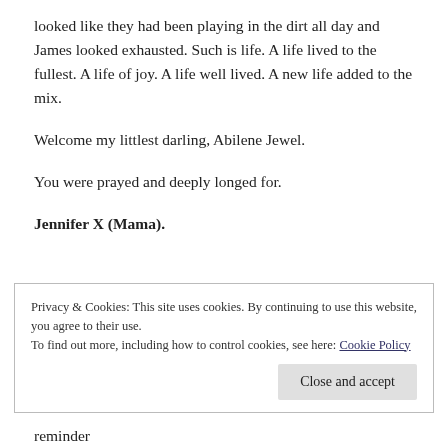looked like they had been playing in the dirt all day and James looked exhausted. Such is life. A life lived to the fullest. A life of joy. A life well lived. A new life added to the mix.
Welcome my littlest darling, Abilene Jewel.
You were prayed and deeply longed for.
Jennifer X (Mama).
Privacy & Cookies: This site uses cookies. By continuing to use this website, you agree to their use.
To find out more, including how to control cookies, see here: Cookie Policy
reminder